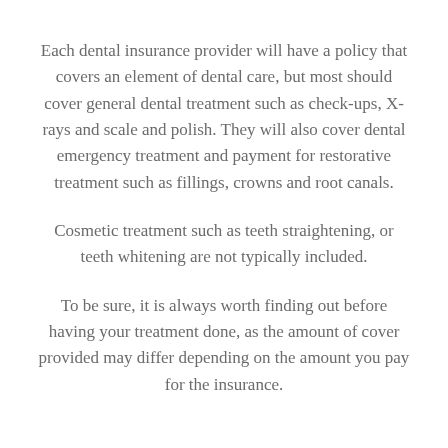Each dental insurance provider will have a policy that covers an element of dental care, but most should cover general dental treatment such as check-ups, X-rays and scale and polish. They will also cover dental emergency treatment and payment for restorative treatment such as fillings, crowns and root canals.
Cosmetic treatment such as teeth straightening, or teeth whitening are not typically included.
To be sure, it is always worth finding out before having your treatment done, as the amount of cover provided may differ depending on the amount you pay for the insurance.